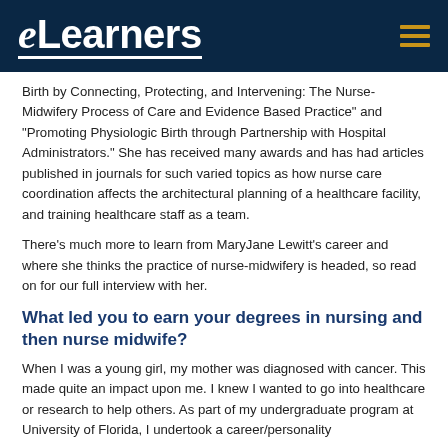eLearners
Birth by Connecting, Protecting, and Intervening: The Nurse-Midwifery Process of Care and Evidence Based Practice" and "Promoting Physiologic Birth through Partnership with Hospital Administrators." She has received many awards and has had articles published in journals for such varied topics as how nurse care coordination affects the architectural planning of a healthcare facility, and training healthcare staff as a team.
There's much more to learn from MaryJane Lewitt's career and where she thinks the practice of nurse-midwifery is headed, so read on for our full interview with her.
What led you to earn your degrees in nursing and then nurse midwife?
When I was a young girl, my mother was diagnosed with cancer. This made quite an impact upon me. I knew I wanted to go into healthcare or research to help others. As part of my undergraduate program at University of Florida, I undertook a career/personality